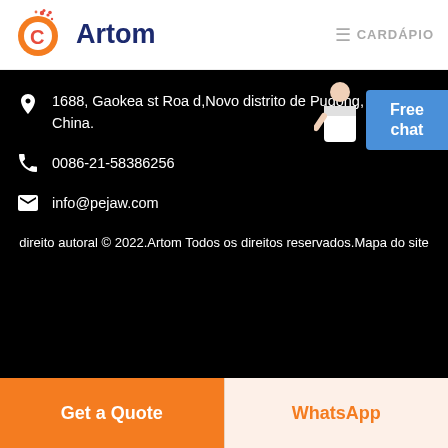[Figure (logo): Artom company logo with orange circular 'C' icon and dark blue 'Artom' text]
≡ CARDÁPIO
1688, Gaokea st Roa d,Novo distrito de Pudong, Xangai, China.
0086-21-58386256
info@pejaw.com
Free chat
direito autoral © 2022.Artom Todos os direitos reservados.Mapa do site
Get a Quote
WhatsApp